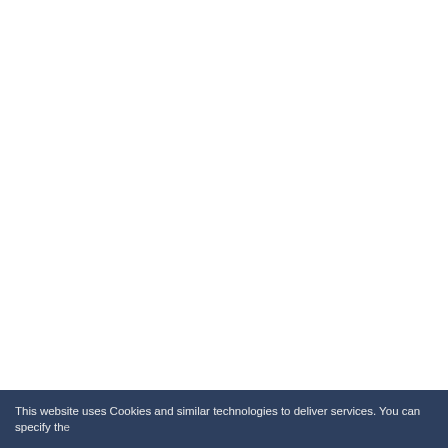[Figure (photo): Pink children's dress with leopard print skirt and cat graphic on front, hanging on white hanger, iDo brand]
Dress 4.4757 iDo -122
manufacturer: IDO
69
[Figure (photo): Partial view of another product at bottom - appears to be blue/denim children's clothing]
This website uses Cookies and similar technologies to deliver services. You can specify the